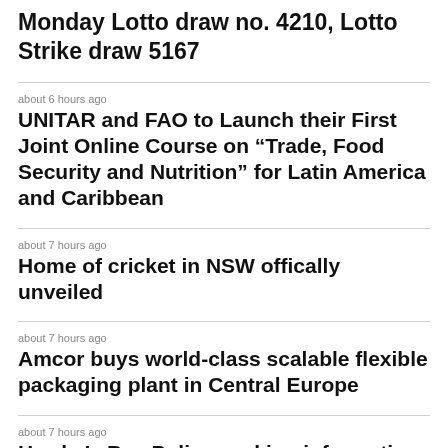Monday Lotto draw no. 4210, Lotto Strike draw 5167
about 6 hours ago
UNITAR and FAO to Launch their First Joint Online Course on “Trade, Food Security and Nutrition” for Latin America and Caribbean
about 7 hours ago
Home of cricket in NSW offically unveiled
about 7 hours ago
Amcor buys world-class scalable flexible packaging plant in Central Europe
about 7 hours ago
Hawke’s Bay Police seeking information
about 7 hours ago